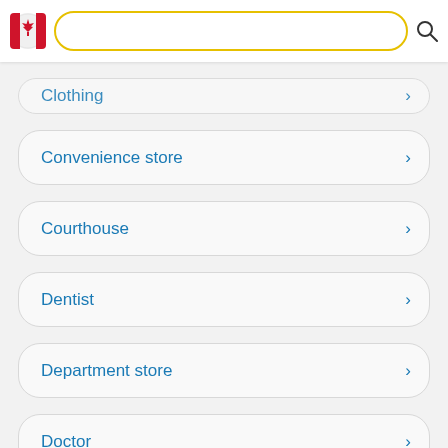Canada flag logo, search bar, search icon
Clothing
Convenience store
Courthouse
Dentist
Department store
Doctor
Electrician
Electronics store